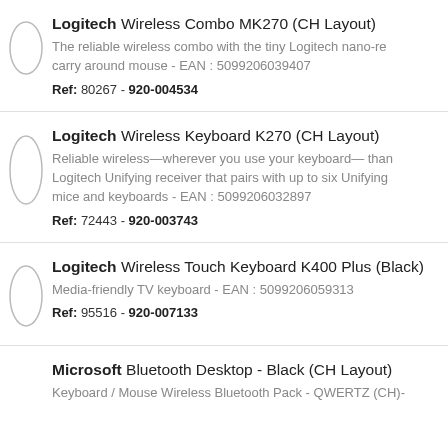Logitech Wireless Combo MK270 (CH Layout) - The reliable wireless combo with the tiny Logitech nano-re carry around mouse - EAN : 5099206039407 - Ref: 80267 - 920-004534
Logitech Wireless Keyboard K270 (CH Layout) - Reliable wireless—wherever you use your keyboard— than Logitech Unifying receiver that pairs with up to six Unifying mice and keyboards - EAN : 5099206032897 - Ref: 72443 - 920-003743
Logitech Wireless Touch Keyboard K400 Plus (Black) - Media-friendly TV keyboard - EAN : 5099206059313 - Ref: 95516 - 920-007133
Microsoft Bluetooth Desktop - Black (CH Layout) - Keyboard / Mouse Wireless Bluetooth Pack - QWERTZ (CH)-